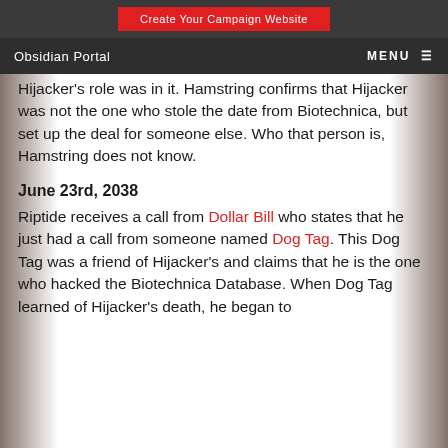Create Your Campaign Website
Obsidian Portal  MENU
Hijacker's role was in it. Hamstring confirms that Hijacker was not the one who stole the date from Biotechnica, but set up the deal for someone else. Who that person is, Hamstring does not know.
June 23rd, 2038
Riptide receives a call from Dollar Bill who states that he just had a call from someone named Dog Tag. This Dog Tag was a friend of Hijacker's and claims that he is the one who hacked the Biotechnica Database. When Dog Tag learned of Hijacker's death, he began to